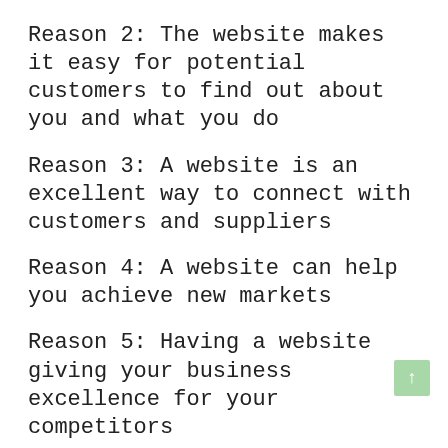Reason 2:  The website makes it easy for potential customers to find out about you and what you do
Reason 3:  A website is an excellent way to connect with customers and suppliers
Reason 4:  A website can help you achieve new markets
Reason 5:  Having a website giving your business excellence for your competitors
The benefits of using a web